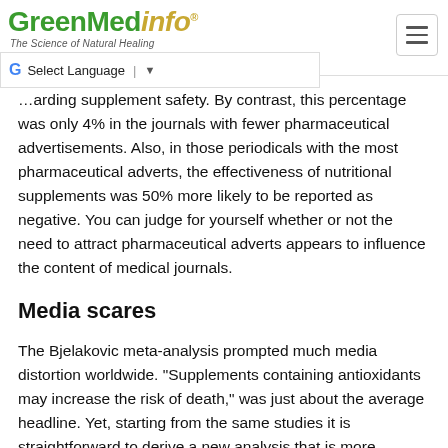GreenMedInfo — The Science of Natural Healing
…arding supplement safety. By contrast, this percentage was only 4% in the journals with fewer pharmaceutical advertisements. Also, in those periodicals with the most pharmaceutical adverts, the effectiveness of nutritional supplements was 50% more likely to be reported as negative. You can judge for yourself whether or not the need to attract pharmaceutical adverts appears to influence the content of medical journals.
Media scares
The Bjelakovic meta-analysis prompted much media distortion worldwide. "Supplements containing antioxidants may increase the risk of death," was just about the average headline. Yet, starting from the same studies it is straightforward to derive a new analysis that is more balanced. An international team of scientists, led by Professor Hans Biesalski of the University of Hohenheim in Germany and Professor Jeffrey Blumberg of Tufts University (USA), subjected the same 66 studies to a renewed analysis.[7] The…